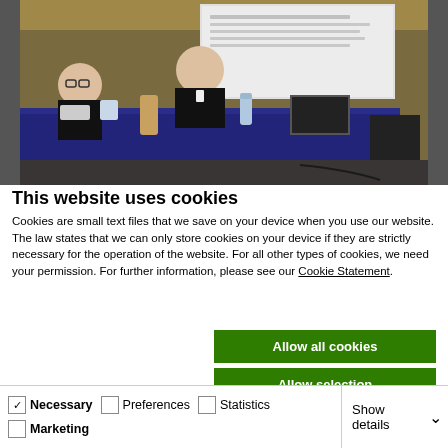[Figure (photo): Conference/seminar scene with two women seated at a table with a dark blue tablecloth, a projection screen in the background, and various items on the table including bottles and a laptop.]
This website uses cookies
Cookies are small text files that we save on your device when you use our website. The law states that we can only store cookies on your device if they are strictly necessary for the operation of the website. For all other types of cookies, we need your permission. For further information, please see our Cookie Statement.
Allow all cookies
Allow selection
Use necessary cookies only
Necessary  Preferences  Statistics  Marketing  Show details